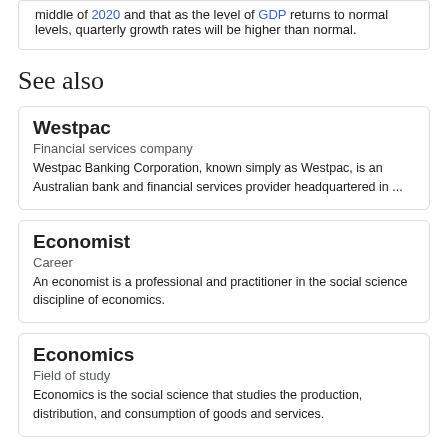middle of 2020 and that as the level of GDP returns to normal levels, quarterly growth rates will be higher than normal.
See also
Westpac
Financial services company
Westpac Banking Corporation, known simply as Westpac, is an Australian bank and financial services provider headquartered in ...
Economist
Career
An economist is a professional and practitioner in the social science discipline of economics.
Economics
Field of study
Economics is the social science that studies the production, distribution, and consumption of goods and services.